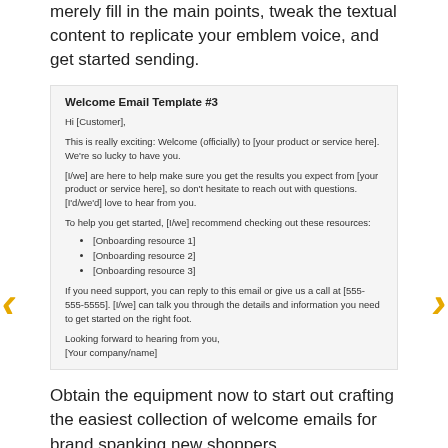merely fill in the main points, tweak the textual content to replicate your emblem voice, and get started sending.
Welcome Email Template #3
Hi [Customer],
This is really exciting: Welcome (officially) to [your product or service here]. We're so lucky to have you.
[I/we] are here to help make sure you get the results you expect from [your product or service here], so don't hesitate to reach out with questions. [I'd/we'd] love to hear from you.
To help you get started, [I/we] recommend checking out these resources:
[Onboarding resource 1]
[Onboarding resource 2]
[Onboarding resource 3]
If you need support, you can reply to this email or give us a call at [555-555-5555]. [I/we] can talk you through the details and information you need to get started on the right foot.
Looking forward to hearing from you,
[Your company/name]
Obtain the equipment now to start out crafting the easiest collection of welcome emails for brand spanking new shoppers.
Now that you simply've observed some nice